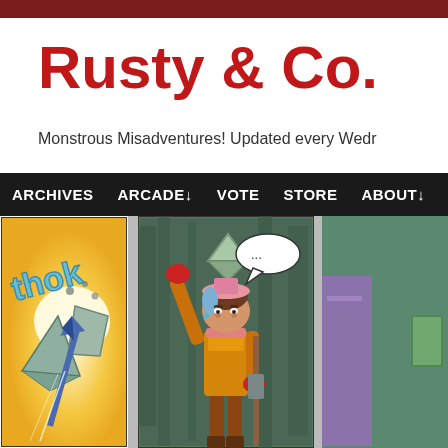Rusty & Co.
Monstrous Misadventures! Updated every Wednesday
ARCHIVES | ARCADE↓ | VOTE | STORE | ABOUT↓ | LOOT↓ | PATR…
[Figure (illustration): Three comic strip panels. Left panel: A blue arrow strikes stone blocks with yellow flash and 'thok' sound effect text in blue cartoon letters. Middle panel: A female adventurer character with brown hair, pink hat, blue highlights, red gloves and yellow outfit holds up a triangular green stone in a dark cave with a speech bubble showing '...'. Right panel: Partial view of another scene with purple/teal colors.]